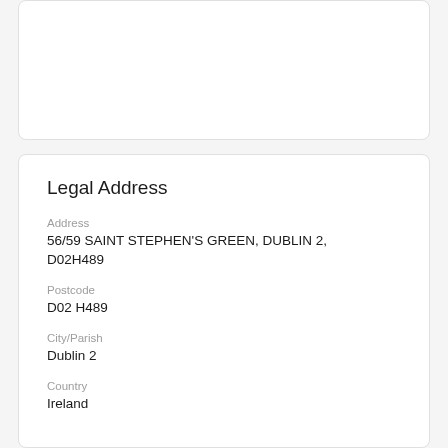Legal Address
Address
56/59 SAINT STEPHEN'S GREEN, DUBLIN 2, D02H489
Postcode
D02 H489
City/Parish
Dublin 2
Country
Ireland